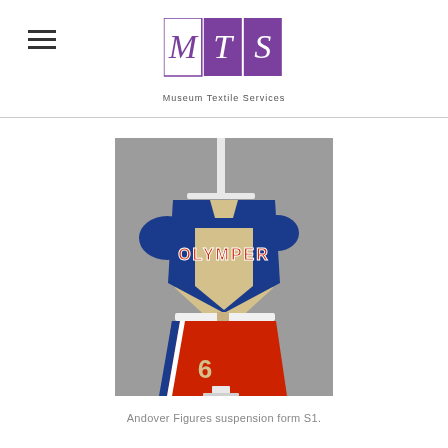Museum Textile Services
[Figure (photo): A vintage cheerleader or sports uniform displayed on a white suspension mannequin form. The uniform consists of a blue short-sleeve jersey top with 'OLYMPER' lettered in red with white outline across the chest, a cream/tan V-shaped panel, and red shorts with blue and white stripe detail on the side. A white belt is visible at the waist. The number 6 appears on the shorts. The form is mounted on a white metal stand against a gray background.]
Andover Figures suspension form S1.